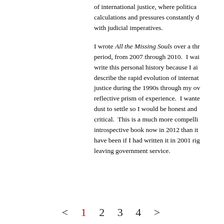of international justice, where political calculations and pressures constantly d with judicial imperatives.
I wrote All the Missing Souls over a thr period, from 2007 through 2010. I wai write this personal history because I ai describe the rapid evolution of internat justice during the 1990s through my ov reflective prism of experience. I wante dust to settle so I would be honest and critical. This is a much more compelli introspective book now in 2012 than it have been if I had written it in 2001 rig leaving government service.
< 1 2 3 4 >